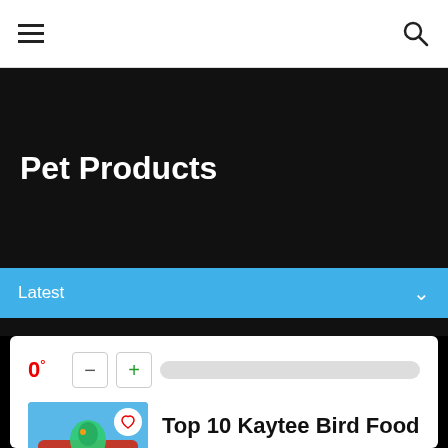≡  [search icon]
Pet Products
Latest  ∨
0°  −  +  [progress bar]
Top 10 Kaytee Bird Food
[Figure (photo): Kaytee Fiesta bird food bag with parrot, with a heart icon overlay]
Nowadays, there are so many products of kaytee bird food in the market and you are wondering to choose a best one. You have searched for kaytee bird food in ...